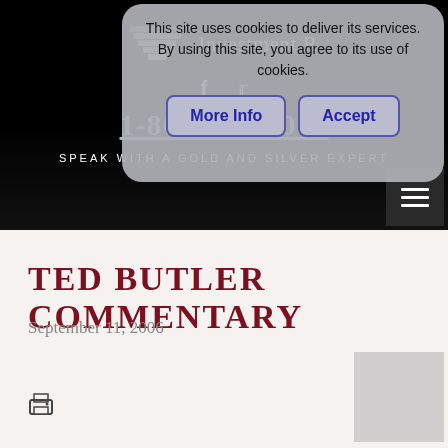Investment R... (logo area with pyramid icon)
1-800-328-1000
SPEAK WITH A GOLD AND SILVER EXPERT
[Figure (screenshot): Cookie consent overlay: 'This site uses cookies to deliver its services. By using this site, you agree to its use of cookies.' with More Info and Accept buttons]
TED BUTLER COMMENTARY
September 11, 2006
[Figure (illustration): Print icon (printer symbol)]